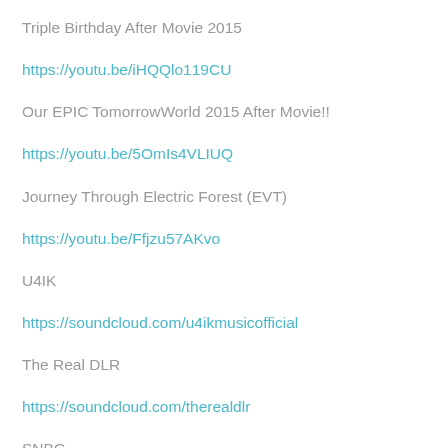Triple Birthday After Movie 2015
https://youtu.be/iHQQlo119CU
Our EPIC TomorrowWorld 2015 After Movie!!
https://youtu.be/5OmIs4VLIUQ
Journey Through Electric Forest (EVT)
https://youtu.be/Ffjzu57AKvo
U4IK
https://soundcloud.com/u4ikmusicofficial
The Real DLR
https://soundcloud.com/therealdlr
SNBG